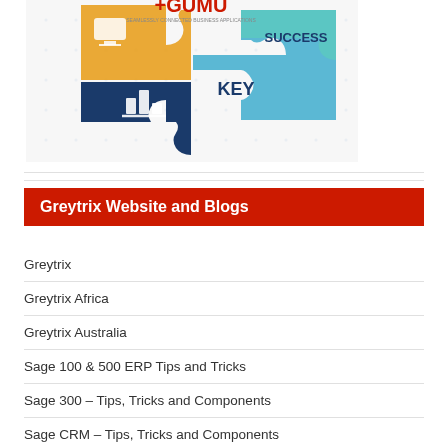[Figure (illustration): Puzzle-piece infographic with GUMU logo, showing puzzle pieces labeled KEY and SUCCESS with icons including a bar chart and computer monitor, set against a light dotted/grid background. Colors include dark navy, gold/yellow, teal/cyan, and light blue.]
Greytrix Website and Blogs
Greytrix
Greytrix Africa
Greytrix Australia
Sage 100 & 500 ERP Tips and Tricks
Sage 300 – Tips, Tricks and Components
Sage CRM – Tips, Tricks and Components